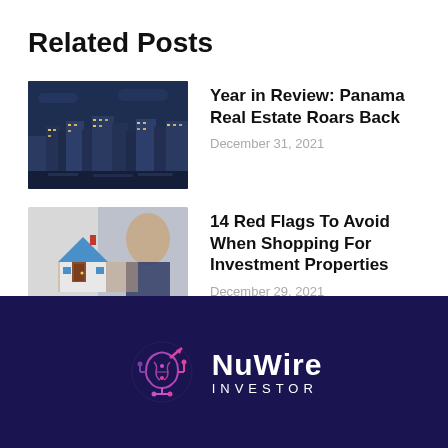Related Posts
[Figure (photo): Night aerial view of Panama City skyline with city lights and dark blue sky]
Year in Review: Panama Real Estate Roars Back
December 31, 2021
[Figure (photo): Man in suit holding a model house figurine against blurred background]
14 Red Flags To Avoid When Shopping For Investment Properties
December 29, 2021
[Figure (logo): NuWire Investor logo with circuit-brain icon in purple and pink on dark navy background]